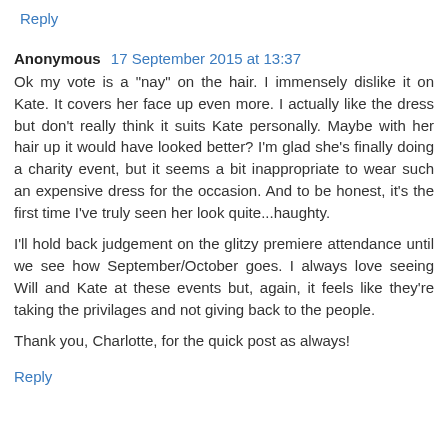Reply
Anonymous  17 September 2015 at 13:37
Ok my vote is a "nay" on the hair. I immensely dislike it on Kate. It covers her face up even more. I actually like the dress but don't really think it suits Kate personally. Maybe with her hair up it would have looked better? I'm glad she's finally doing a charity event, but it seems a bit inappropriate to wear such an expensive dress for the occasion. And to be honest, it's the first time I've truly seen her look quite...haughty.

I'll hold back judgement on the glitzy premiere attendance until we see how September/October goes. I always love seeing Will and Kate at these events but, again, it feels like they're taking the privilages and not giving back to the people.

Thank you, Charlotte, for the quick post as always!
Reply